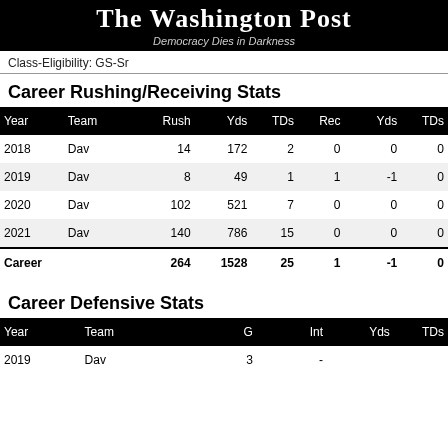The Washington Post
Democracy Dies in Darkness
Class-Eligibility: GS-Sr
Career Rushing/Receiving Stats
| Year | Team | Rush | Yds | TDs | Rec | Yds | TDs |
| --- | --- | --- | --- | --- | --- | --- | --- |
| 2018 | Dav | 14 | 172 | 2 | 0 | 0 | 0 |
| 2019 | Dav | 8 | 49 | 1 | 1 | -1 | 0 |
| 2020 | Dav | 102 | 521 | 7 | 0 | 0 | 0 |
| 2021 | Dav | 140 | 786 | 15 | 0 | 0 | 0 |
| Career |  | 264 | 1528 | 25 | 1 | -1 | 0 |
Career Defensive Stats
| Year | Team | G | Int | Yds | TDs |
| --- | --- | --- | --- | --- | --- |
| 2019 | Dav | 3 | - |  |  |